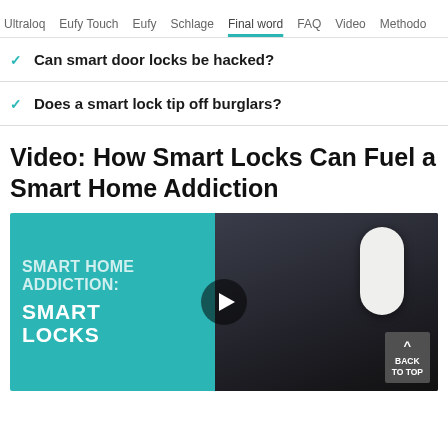Ultraloq  Eufy Touch  Eufy  Schlage  Final word  FAQ  Video  Methodo
Can smart door locks be hacked?
Does a smart lock tip off burglars?
Video: How Smart Locks Can Fuel a Smart Home Addiction
[Figure (screenshot): Video thumbnail for 'Smart Home Addiction: Smart Locks' showing teal background with white text on left and a person holding a white smart lock device on the right, with a play button in the center and a Back to Top button in the bottom right corner.]